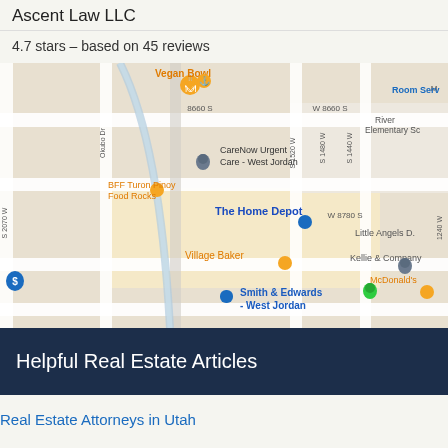Ascent Law LLC
4.7 stars – based on 45 reviews
[Figure (map): Google Maps showing the area around Ascent Law LLC in West Jordan, Utah. Visible landmarks include Vegan Bowl, CareNow Urgent Care - West Jordan, BFF Turon Pinoy Food Rocks, The Home Depot, Village Baker, Smith & Edwards - West Jordan, Kellie & Company, McDonald's, Little Angels D., Room Serv, River Elementary Sc. Street labels include 8660 S, W 8660 S, W 8780 S, S 1520 W, S 1480 W, S 1440 W, S 2070 W, Okubo Dr, 1240 W.]
Helpful Real Estate Articles
Real Estate Attorneys in Utah